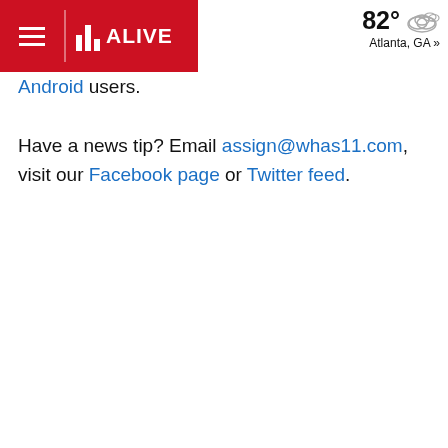11 ALIVE | 82° Atlanta, GA »
Android users.
Have a news tip? Email assign@whas11.com, visit our Facebook page or Twitter feed.